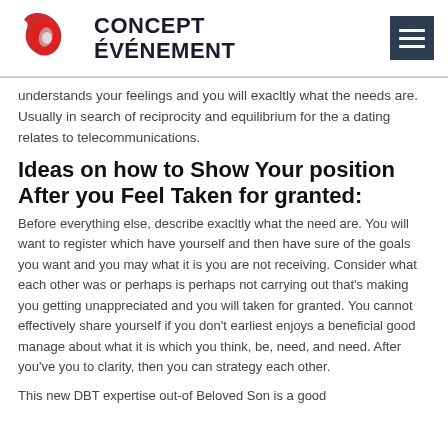CONCEPT ÉVÉNEMENT
understands your feelings and you will exacltly what the needs are. Usually in search of reciprocity and equilibrium for the a dating relates to telecommunications.
Ideas on how to Show Your position After you Feel Taken for granted:
Before everything else, describe exacltly what the need are. You will want to register which have yourself and then have sure of the goals you want and you may what it is you are not receiving. Consider what each other was or perhaps is perhaps not carrying out that's making you getting unappreciated and you will taken for granted. You cannot effectively share yourself if you don't earliest enjoys a beneficial good manage about what it is which you think, be, need, and need. After you've you to clarity, then you can strategy each other.
This new DBT expertise out-of Beloved Son is a good